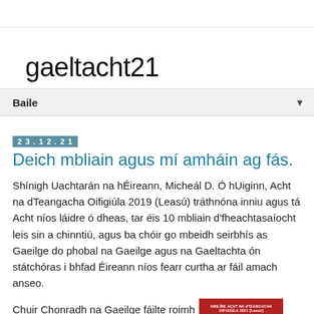gaeltacht21
Baile ▼
23.12.21
Deich mbliain agus mí amháin ag fás.
Shínigh Uachtarán na hÉireann, Micheál D. Ó hUiginn, Acht na dTeangacha Oifigiúla 2019 (Leasú) tráthnóna inniu agus tá Acht níos láidre ó dheas, tar éis 10 mbliain d'fheachtasaíocht leis sin a chinntiú, agus ba chóir go mbeidh seirbhís as Gaeilge do phobal na Gaeilge agus na Gaeltachta ón státchóras i bhfad Éireann níos fearr curtha ar fáil amach anseo.
Chuir Chonradh na Gaeilge fáilte roimh